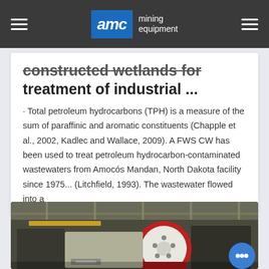AMC mining equipment
constructed wetlands for treatment of industrial ...
· Total petroleum hydrocarbons (TPH) is a measure of the sum of paraffinic and aromatic constituents (Chapple et al., 2002, Kadlec and Wallace, 2009). A FWS CW has been used to treat petroleum hydrocarbon-contaminated wastewaters from Amocós Mandan, North Dakota facility since 1975... (Litchfield, 1993). The wastewater flowed into a
[Figure (photo): Industrial mining equipment (crusher) inside a factory/warehouse facility. A large circular red and white crusher disk component is prominently visible in the foreground, with Chinese text visible on equipment in the background.]